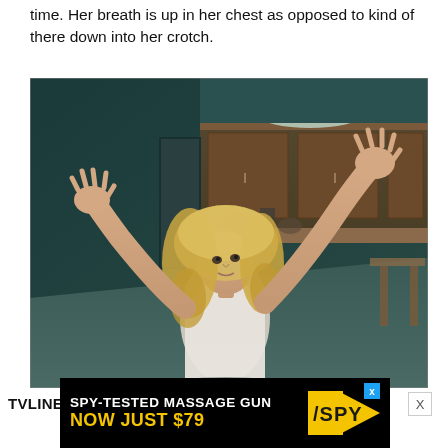time. Her breath is up in her chest as opposed to kind of there down into her crotch.
[Figure (photo): A woman with long curly blonde hair wearing a white sleeveless top, standing in what appears to be a dimly lit kitchen or room, with both arms raised and hands spread open, looking upward in a dramatic pose.]
TVLINE:
[Figure (infographic): Advertisement banner: SPY-TESTED MASSAGE GUN NOW JUST $79 with SPY logo in yellow on black background.]